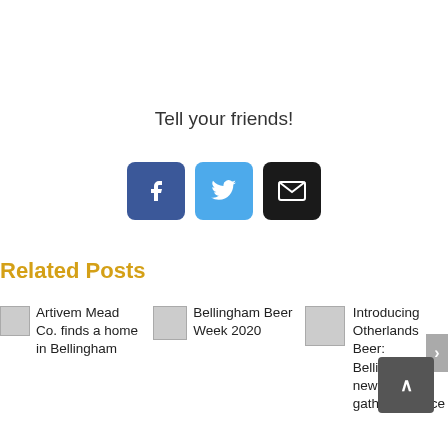Tell your friends!
[Figure (infographic): Three social sharing buttons: Facebook (blue), Twitter (light blue), Email (black), each with icons]
Related Posts
Artivem Mead Co. finds a home in Bellingham
Bellingham Beer Week 2020
Introducing Otherlands Beer: Bellingham's newest gathering place